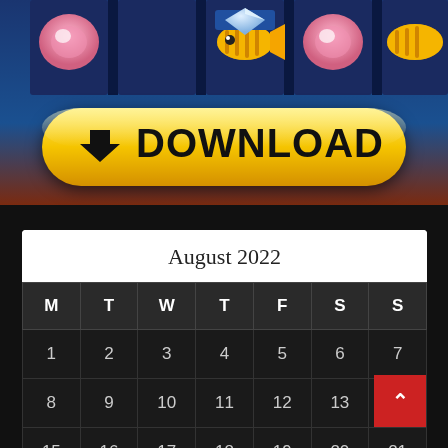[Figure (screenshot): Mobile app advertisement banner showing a slot machine game with colorful reels featuring fish and pearl symbols, with a large yellow DOWNLOAD button at the bottom]
| M | T | W | T | F | S | S |
| --- | --- | --- | --- | --- | --- | --- |
| 1 | 2 | 3 | 4 | 5 | 6 | 7 |
| 8 | 9 | 10 | 11 | 12 | 13 | 14 |
| 15 | 16 | 17 | 18 | 19 | 20 | 21 |